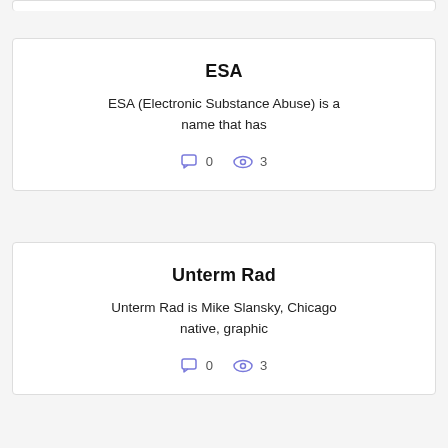ESA
ESA (Electronic Substance Abuse) is a name that has
0 comments · 3 views
Unterm Rad
Unterm Rad is Mike Slansky, Chicago native, graphic
0 comments · 3 views